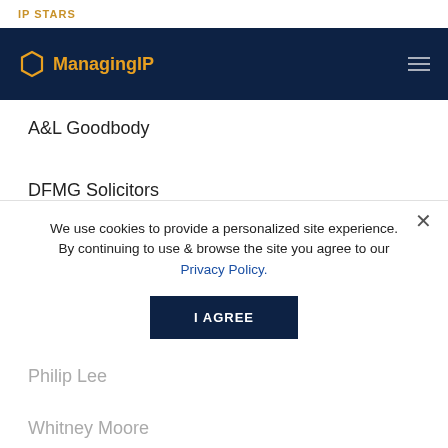IP STARS
[Figure (logo): Managing IP logo with hexagon icon on dark navy background]
A&L Goodbody
DFMG Solicitors
Mason Hayes & Curran
McCann FitzGerald
Philip Lee
Whitney Moore
William Fry
We use cookies to provide a personalized site experience. By continuing to use & browse the site you agree to our Privacy Policy.